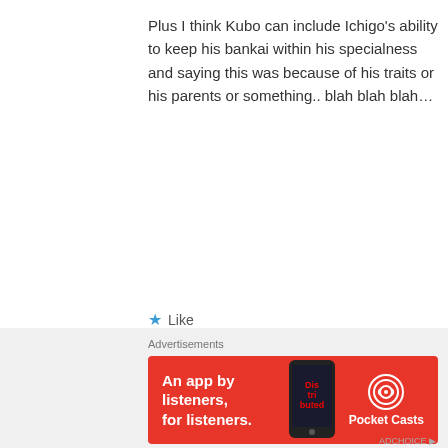Plus I think Kubo can include Ichigo's ability to keep his bankai within his specialness and saying this was because of his traits or his parents or something.. blah blah blah…
Like
Ne3X7
July 26, 2012 at 6:07 pm
[Figure (illustration): Avatar image of a cartoon blue bird with red crab claws, holding a small object]
Okay, I think you may be right. But, how dare Kubo kill all the captain? That's impossible!
Advertisements
[Figure (screenshot): Red advertisement banner for Pocket Casts app reading 'An app by listeners, for listeners.' with phone graphic and Pocket Casts logo]